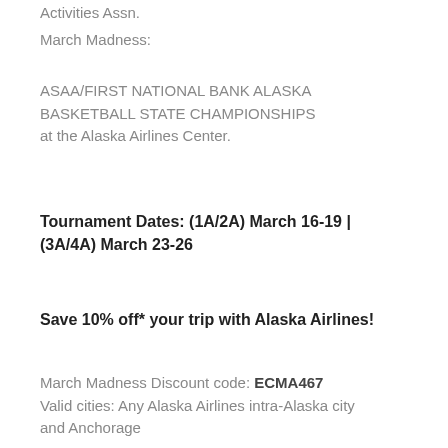Activities Assn.
March Madness:
ASAA/FIRST NATIONAL BANK ALASKA BASKETBALL STATE CHAMPIONSHIPS at the Alaska Airlines Center.
Tournament Dates: (1A/2A) March 16-19 | (3A/4A) March 23-26
Save 10% off* your trip with Alaska Airlines!
March Madness Discount code: ECMA467
Valid cities: Any Alaska Airlines intra-Alaska city and Anchorage